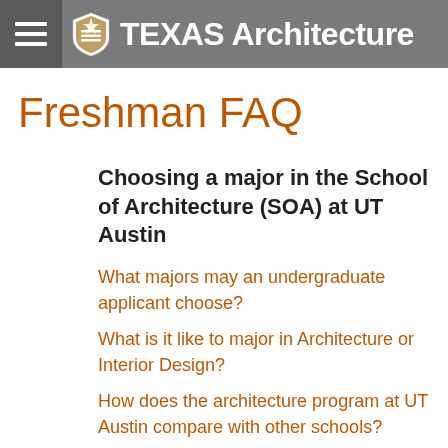TEXAS Architecture
Freshman FAQ
Choosing a major in the School of Architecture (SOA) at UT Austin
What majors may an undergraduate applicant choose?
What is it like to major in Architecture or Interior Design?
How does the architecture program at UT Austin compare with other schools?